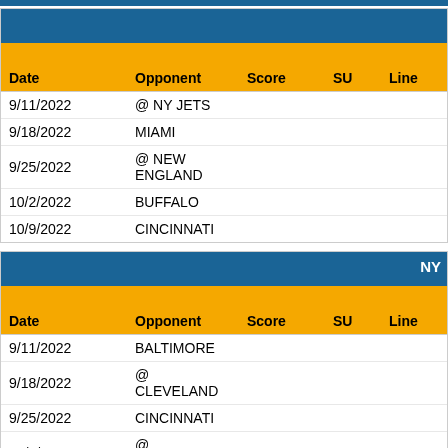| Date | Opponent | Score | SU | Line |
| --- | --- | --- | --- | --- |
| 9/11/2022 | @ NY JETS |  |  |  |
| 9/18/2022 | MIAMI |  |  |  |
| 9/25/2022 | @ NEW ENGLAND |  |  |  |
| 10/2/2022 | BUFFALO |  |  |  |
| 10/9/2022 | CINCINNATI |  |  |  |
| Date | Opponent | Score | SU | Line |
| --- | --- | --- | --- | --- |
| 9/11/2022 | BALTIMORE |  |  |  |
| 9/18/2022 | @ CLEVELAND |  |  |  |
| 9/25/2022 | CINCINNATI |  |  |  |
| 10/2/2022 | @ PITTSBURGH |  |  |  |
| 10/9/2022 | MIAMI |  |  |  |
PREVIEW
Last Updated: 8/29/2022 4:11:31 PM EST